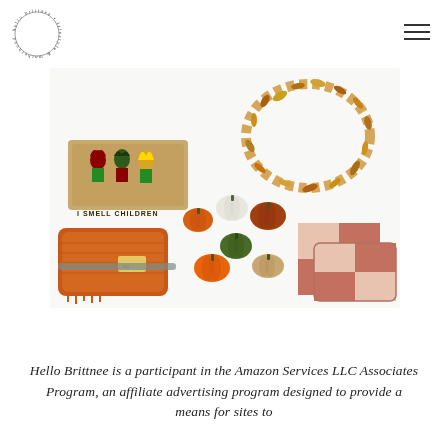hello brittnee • lifestyle & motherhood
[Figure (photo): Collage of fall/Halloween home decor items including a 'I Smell Children' Hocus Pocus themed doormat, autumn leaf wreath, set of decorative pumpkins in various colors (orange, white, green, brown), a chunky orange knit throw blanket, and two orange buffalo check plaid throw pillows on a white background.]
Hello Brittnee is a participant in the Amazon Services LLC Associates Program, an affiliate advertising program designed to provide a means for sites to